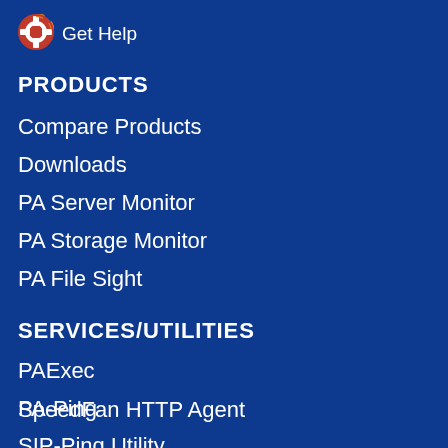[Figure (logo): Life preserver ring icon in red, white, and orange colors]
Get Help
PRODUCTS
Compare Products
Downloads
PA Server Monitor
PA Storage Monitor
PA File Sight
SERVICES/UTILITIES
PAExec
PA-Ping
SpeedFan HTTP Agent
SIP-Ping Utility
SUPPORT